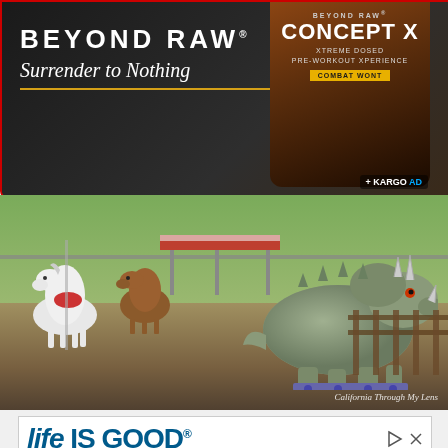[Figure (photo): Beyond Raw advertisement banner with 'BEYOND RAW Surrender to Nothing' text and Concept X product bottle on dark background]
[Figure (photo): Outdoor scene at what appears to be a roadside attraction or storage area showing a white carousel horse, brown horse, and a large triceratops dinosaur statue on a wheeled platform, with trees and fence in background. Watermark reads 'California Through My Lens']
California Through My Lens
[Figure (photo): Life Is Good brand advertisement showing two t-shirts — a lavender shirt with cycling scene graphic on left, and a gray shirt with trees graphic on right. Ad has play and X icons in upper right.]